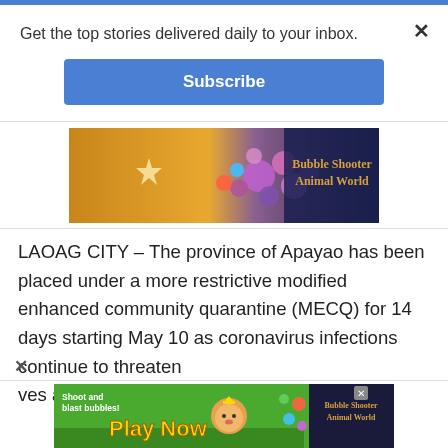Get the top stories delivered daily to your inbox.
[Figure (other): Subscribe button - blue rounded rectangle with white text 'Subscribe']
[Figure (other): Game advertisement banner for 'Bubble Shooter Animal World' showing colorful game graphics with orange warm lighting on left and bubble shooter game on right]
LAOAG CITY – The province of Apayao has been placed under a more restrictive modified enhanced community quarantine (MECQ) for 14 days starting May 10 as coronavirus infections continue to threaten lives and livelihoods in the area.
[Figure (other): Game advertisement banner for 'Bubble Shooter Animal World' - Play Now ad with green background, cartoon bear character, and yellow 'Play Now' text. 'Shoot and blast bubbles!' tagline shown.]